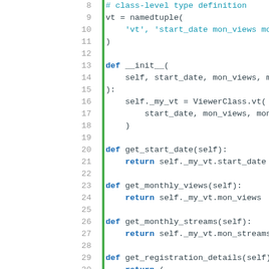[Figure (screenshot): Python source code editor screenshot showing lines 8-31 of a Python class definition with syntax highlighting. Green vertical bar separates line numbers from code. Shows namedtuple, __init__, get_start_date, get_monthly_views, get_monthly_streams, and get_registration_details methods.]